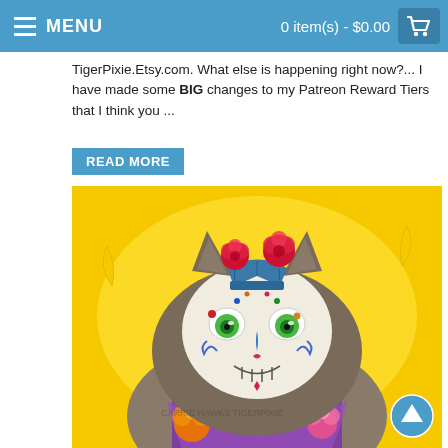MENU | 0 item(s) - $0.00
TigerPixie.Etsy.com. What else is happening right now?... I have made some BIG changes to my Patreon Reward Tiers that I think you ...
READ MORE
[Figure (illustration): Day of the Dead sugar skull cat illustration with green eyes, red and orange roses, teal crown, purple dress, yellow background]